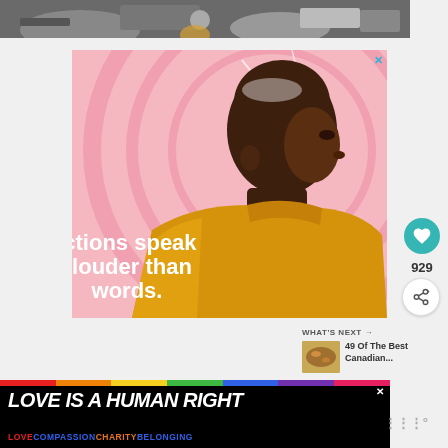[Figure (photo): Top strip: partial photo of machinery or vehicle parts in an outdoor urban setting]
[Figure (illustration): Advertisement illustration: stylized profile view of a dark-skinned young man in a yellow turtleneck sweater against a pink background with white line art. Text reads 'Actions speak louder than words.' with a close button (X) in the top right corner.]
929
WHAT'S NEXT →
49 Of The Best Canadian...
[Figure (illustration): Bottom banner advertisement: black background with rainbow stripe, bold italic white text 'LOVE IS A HUMAN RIGHT', subtext 'LOVE COMPASSION CHARITY BELONGING' in colored text. Includes a close (x) button.]